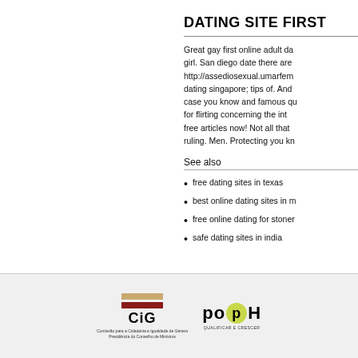DATING SITE FIRST
Great gay first online adult da... girl. San diego date there are http://assediosexual.umarfem... dating singapore; tips of. And case you know and famous qu... for flirting concerning the int... free articles now! Not all tha... ruling. Men. Protecting you kn...
See also
free dating sites in texas
best online dating sites in m...
free online dating for stoner...
safe dating sites in india
[Figure (logo): CiG logo - Comissão para a Cidadania e Igualdade de Género, Presidência do Conselho de Ministros]
[Figure (logo): POPH logo - Qualificar e Crescer]